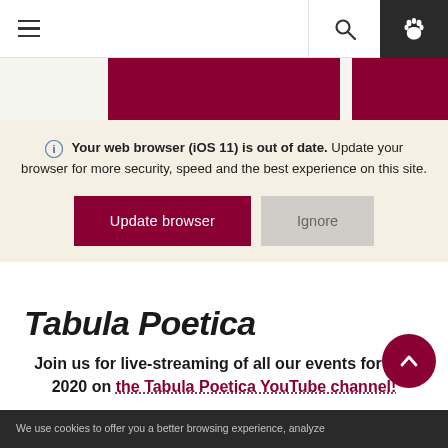[Figure (screenshot): Website navigation bar with hamburger menu icon on left, search icon and dark paw icon on right]
[Figure (photo): Two dark red/maroon rectangular image blocks partially visible behind browser update notification overlay]
Your web browser (iOS 11) is out of date. Update your browser for more security, speed and the best experience on this site.
Update browser   Ignore
Tabula Poetica
Join us for live-streaming of all our events for Fall 2020 on the Tabula Poetica YouTube channel!
We use cookies to offer you a better browsing experience, analyze